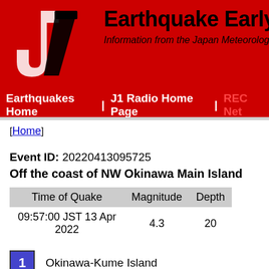[Figure (logo): J1 Earthquake Early Warning logo with red background, white J shape, and black diagonal mark]
Earthquakes Home | J1 Radio Home Page | REC Net
[Home]
Event ID: 20220413095725
Off the coast of NW Okinawa Main Island
| Time of Quake | Magnitude | Depth |
| --- | --- | --- |
| 09:57:00 JST 13 Apr 2022 | 4.3 | 20 |
1  Okinawa-Kume Island